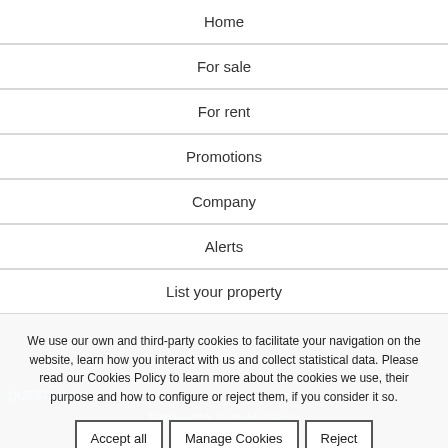Home
For sale
For rent
Promotions
Company
Alerts
List your property
Privacy policy
Legal advice
Cookies Policy
QUESTIONS?
Proyecto Inmobiliaria
We use our own and third-party cookies to facilitate your navigation on the website, learn how you interact with us and collect statistical data. Please read our Cookies Policy to learn more about the cookies we use, their purpose and how to configure or reject them, if you consider it so.